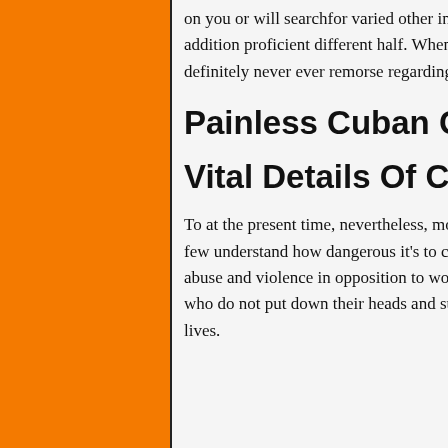on you or will searchfor varied other interests than domesticity. She will likely be a terrific mom and in addition proficient different half. When you choose Cuban brides for marital relationship, you'll definitely never ever remorse regarding it.
Painless Cuban Girl Secrets In The Usa
Vital Details Of Cuban Girl – The Best Routes
To at the present time, nevertheless, most Cuban girls are unaware of what their individual rights are, and few understand how dangerous it's to change into aware of them. In Cuba, varied types of harassment, abuse and violence in opposition to women persist, and there are methods in place for punishing those who do not put down their heads and surrender to the truth that males are accountable for our each day lives.